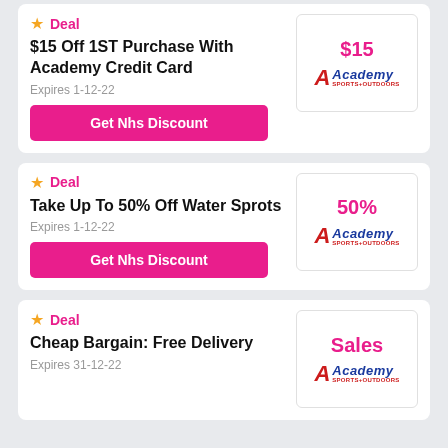★ Deal
$15 Off 1ST Purchase With Academy Credit Card
Expires 1-12-22
Get Nhs Discount
[Figure (other): Academy Sports+Outdoors logo with $15 discount value]
★ Deal
Take Up To 50% Off Water Sprots
Expires 1-12-22
Get Nhs Discount
[Figure (other): Academy Sports+Outdoors logo with 50% discount value]
★ Deal
Cheap Bargain: Free Delivery
Expires 31-12-22
[Figure (other): Academy Sports+Outdoors logo with Sales label]